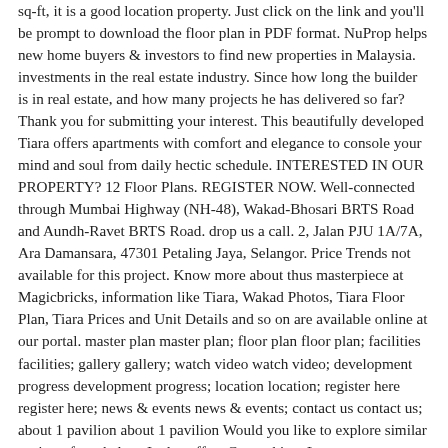sq-ft, it is a good location property. Just click on the link and you'll be prompt to download the floor plan in PDF format. NuProp helps new home buyers & investors to find new properties in Malaysia. investments in the real estate industry. Since how long the builder is in real estate, and how many projects he has delivered so far? Thank you for submitting your interest. This beautifully developed Tiara offers apartments with comfort and elegance to console your mind and soul from daily hectic schedule. INTERESTED IN OUR PROPERTY? 12 Floor Plans. REGISTER NOW. Well-connected through Mumbai Highway (NH-48), Wakad-Bhosari BRTS Road and Aundh-Ravet BRTS Road. drop us a call. 2, Jalan PJU 1A/7A, Ara Damansara, 47301 Petaling Jaya, Selangor. Price Trends not available for this project. Know more about thus masterpiece at Magicbricks, information like Tiara, Wakad Photos, Tiara Floor Plan, Tiara Prices and Unit Details and so on are available online at our portal. master plan master plan; floor plan floor plan; facilities facilities; gallery gallery; watch video watch video; development progress development progress; location location; register here register here; news & events news & events; contact us contact us; about 1 pavilion about 1 pavilion Would you like to explore similar projects from below. It also offers Car parking. Let Apartments.com help you find your perfect fit. Virtual Tour | Type D2 . Ara Damansara is a friendly residential township